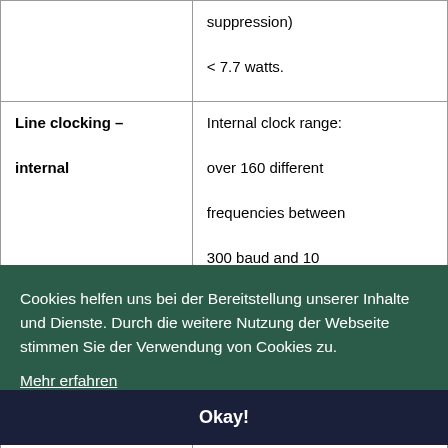|  | suppression)
< 7.7 watts. |
| Line clocking – internal | Internal clock range: over 160 different frequencies between 300 baud and 10 |
|  |  |
Cookies helfen uns bei der Bereitstellung unserer Inhalte und Dienste. Durch die weitere Nutzung der Webseite stimmen Sie der Verwendung von Cookies zu.
Mehr erfahren
Okay!